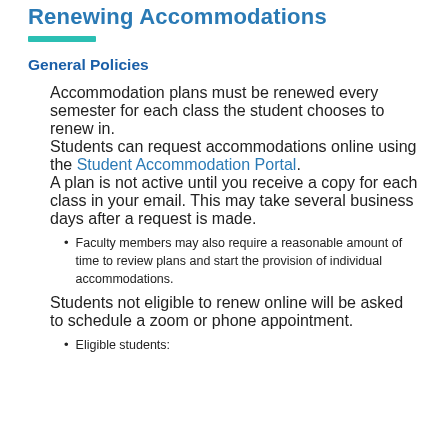Renewing Accommodations
General Policies
Accommodation plans must be renewed every semester for each class the student chooses to renew in.
Students can request accommodations online using the Student Accommodation Portal.
A plan is not active until you receive a copy for each class in your email.  This may take several business days after a request is made.
Faculty members may also require a reasonable amount of time to review plans and start the provision of individual accommodations.
Students not eligible to renew online will be asked to schedule a zoom or phone appointment.
Eligible students: